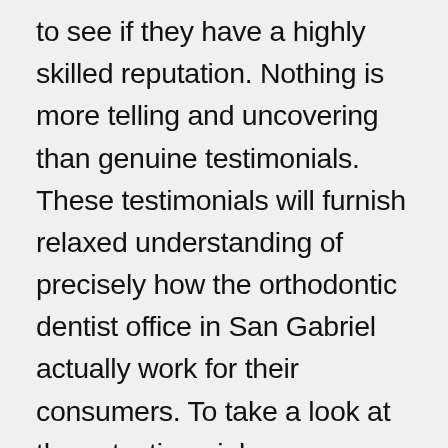to see if they have a highly skilled reputation. Nothing is more telling and uncovering than genuine testimonials. These testimonials will furnish relaxed understanding of precisely how the orthodontic dentist office in San Gabriel actually work for their consumers. To take a look at these testimonials, you can go to a wide range of review internet resources like Yelp and Angie's List. You are able to research the Google Plus Reviews likewise, to discover whether or not the orthodontic dentist office in San Gabriel you're planning on employing merits the amount of money money you're going to be having to pay. It's extremely necessary to hold the proper